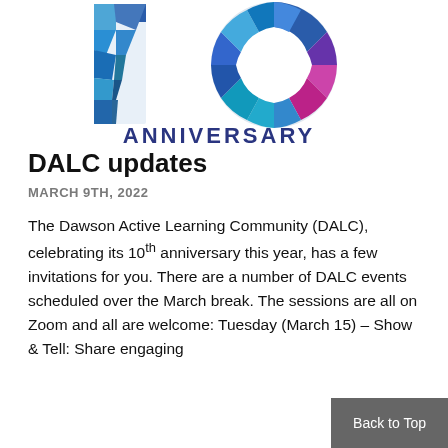[Figure (logo): 10th Anniversary logo — colorful mosaic '10' numeral with a circular mosaic 'O' and the word ANNIVERSARY in dark navy blue wide letters below]
DALC updates
MARCH 9TH, 2022
The Dawson Active Learning Community (DALC), celebrating its 10th anniversary this year, has a few invitations for you. There are a number of DALC events scheduled over the March break. The sessions are all on Zoom and all are welcome: Tuesday (March 15) – Show & Tell: Share engaging